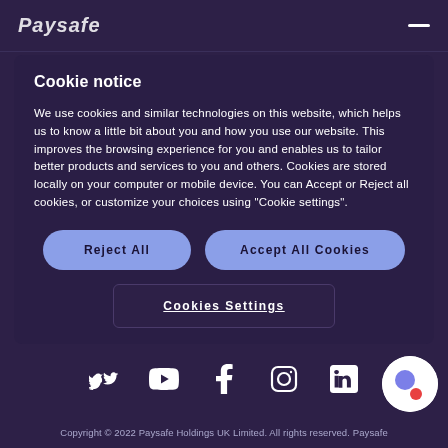Paysafe
Cookie notice
We use cookies and similar technologies on this website, which helps us to know a little bit about you and how you use our website. This improves the browsing experience for you and enables us to tailor better products and services to you and others. Cookies are stored locally on your computer or mobile device. You can Accept or Reject all cookies, or customize your choices using "Cookie settings".
Reject All
Accept All Cookies
Cookies Settings
Copyright © 2022 Paysafe Holdings UK Limited. All rights reserved. Paysafe